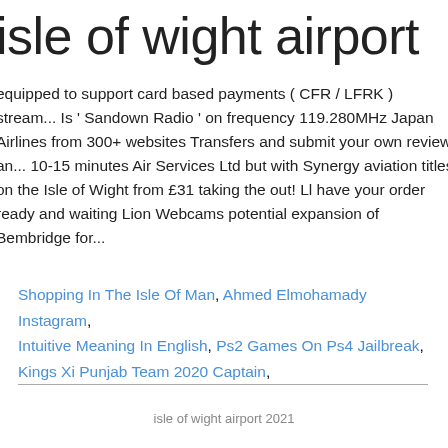isle of wight airport
equipped to support card based payments ( CFR / LFRK ) stream... Is ' Sandown Radio ' on frequency 119.280MHz Japan Airlines from 300+ websites Transfers and submit your own review an... 10-15 minutes Air Services Ltd but with Synergy aviation titles on the Isle of Wight from £31 taking the out! Ll have your order ready and waiting Lion Webcams potential expansion of Bembridge for...
Shopping In The Isle Of Man, Ahmed Elmohamady Instagram, Intuitive Meaning In English, Ps2 Games On Ps4 Jailbreak, Kings Xi Punjab Team 2020 Captain,
isle of wight airport 2021